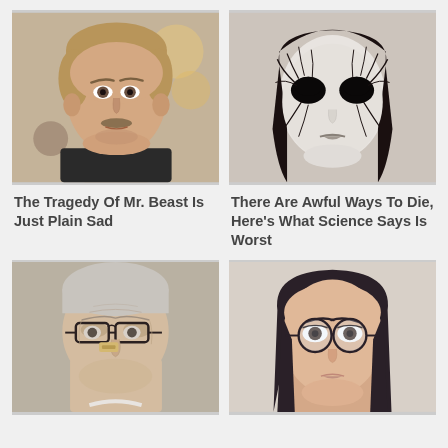[Figure (photo): Close-up photo of a young man with light brown hair and a small mustache, wearing a black shirt, color photo]
[Figure (photo): Black and white close-up of a woman with heavy dark eye makeup with cracked/veined effect around the eyes, dramatic artistic look]
The Tragedy Of Mr. Beast Is Just Plain Sad
There Are Awful Ways To Die, Here's What Science Says Is Worst
[Figure (photo): Close-up photo of an elderly man wearing thick-rimmed glasses with what appears to be a medical device attached, slightly frowning expression]
[Figure (photo): Close-up photo of a young woman with dark hair wearing large round glasses, looking directly at camera]